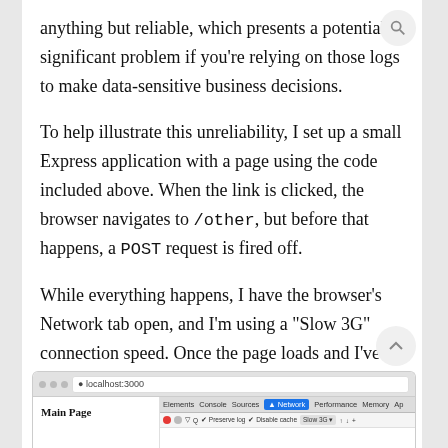anything but reliable, which presents a potentially significant problem if you're relying on those logs to make data-sensitive business decisions.
To help illustrate this unreliability, I set up a small Express application with a page using the code included above. When the link is clicked, the browser navigates to /other, but before that happens, a POST request is fired off.
While everything happens, I have the browser's Network tab open, and I'm using a "Slow 3G" connection speed. Once the page loads and I've cleared the log out, things look pretty quiet:
[Figure (screenshot): Browser screenshot showing a Main Page with browser developer tools Network tab open, using Slow 3G connection speed.]